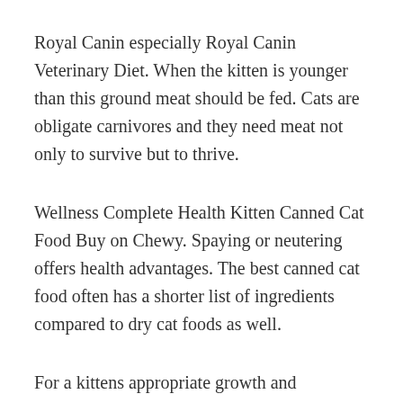Royal Canin especially Royal Canin Veterinary Diet. When the kitten is younger than this ground meat should be fed. Cats are obligate carnivores and they need meat not only to survive but to thrive.
Wellness Complete Health Kitten Canned Cat Food Buy on Chewy. Spaying or neutering offers health advantages. The best canned cat food often has a shorter list of ingredients compared to dry cat foods as well.
For a kittens appropriate growth and